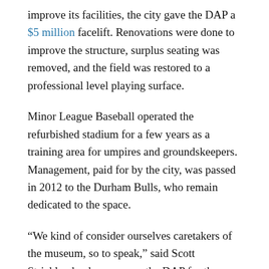improve its facilities, the city gave the DAP a $5 million facelift. Renovations were done to improve the structure, surplus seating was removed, and the field was restored to a professional level playing surface.
Minor League Baseball operated the refurbished stadium for a few years as a training area for umpires and groundskeepers. Management, paid for by the city, was passed in 2012 to the Durham Bulls, who remain dedicated to the space.
“We kind of consider ourselves caretakers of the museum, so to speak,” said Scott Strickland, who manages the DAP for the Bulls. “And that’s a lot of responsibility, but it’s a whole lot of fun, too.”
Old park, new life
NCCU’s baseball program revived the Historic DAP,